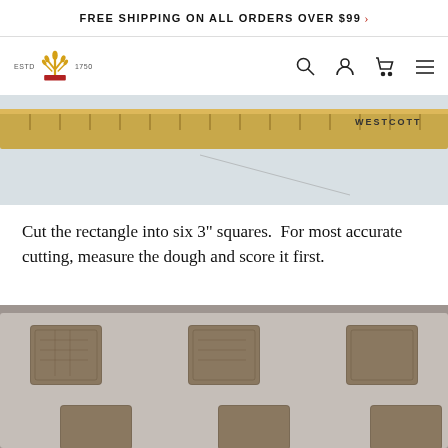FREE SHIPPING ON ALL ORDERS OVER $99 >
[Figure (screenshot): Website navigation bar with logo (ESTD 1750 wheat crown icon), search, account, cart, and hamburger menu icons]
[Figure (photo): Close-up photo of a Westcott ruler placed on white parchment paper, wooden ruler visible at top of image]
Cut the rectangle into six 3" squares.  For most accurate cutting, measure the dough and score it first.
[Figure (photo): Photo of square cracker/biscuit dough pieces cut and placed on a baking sheet]
This site uses cookies to provide you with the best experience possible.
Read our Privacy Policy   ×